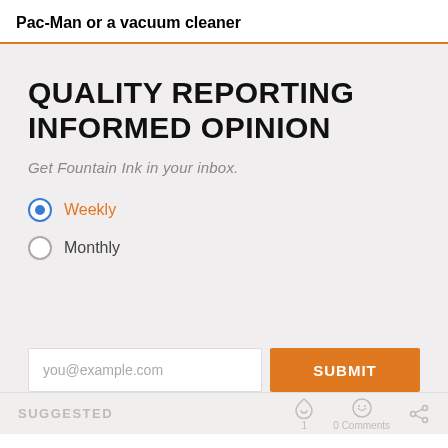Pac-Man or a vacuum cleaner
QUALITY REPORTING INFORMED OPINION
Get Fountain Ink in your inbox.
Weekly (selected)
Monthly
you@example.com
SUBMIT
SUGGESTED